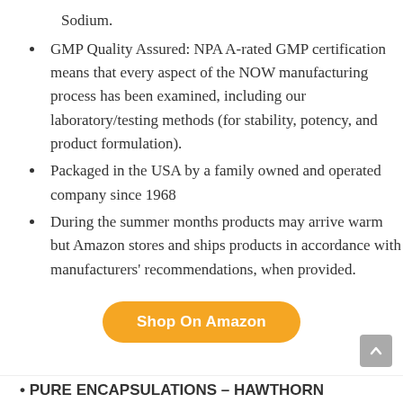Sodium.
GMP Quality Assured: NPA A-rated GMP certification means that every aspect of the NOW manufacturing process has been examined, including our laboratory/testing methods (for stability, potency, and product formulation).
Packaged in the USA by a family owned and operated company since 1968
During the summer months products may arrive warm but Amazon stores and ships products in accordance with manufacturers' recommendations, when provided.
[Figure (other): Orange rounded rectangle button with white text reading 'Shop On Amazon']
PURE ENCAPSULATIONS – HAWTHORN